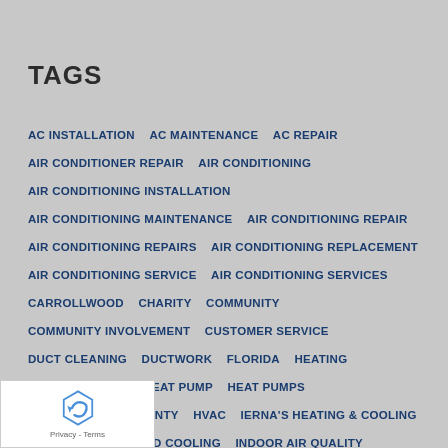TAGS
AC INSTALLATION   AC MAINTENANCE   AC REPAIR   AIR CONDITIONER REPAIR   AIR CONDITIONING   AIR CONDITIONING INSTALLATION   AIR CONDITIONING MAINTENANCE   AIR CONDITIONING REPAIR   AIR CONDITIONING REPAIRS   AIR CONDITIONING REPLACEMENT   AIR CONDITIONING SERVICE   AIR CONDITIONING SERVICES   CARROLLWOOD   CHARITY   COMMUNITY   COMMUNITY INVOLVEMENT   CUSTOMER SERVICE   DUCT CLEANING   DUCTWORK   FLORIDA   HEATING   HEATING REPAIR   HEAT PUMP   HEAT PUMPS   HILLSBOROUGH COUNTY   HVAC   IERNA'S HEATING & COOLING   IERNA'S HEATING AND COOLING   INDOOR AIR QUALITY   LAND O LAKES   LUTZ   NEW PORT RICHEY   ODESSA   PLUMBER   PLUMBING   PLUMBING SERVICES   RIVERVIEW   TAMPA   WATER HEATERS   TRINITY   UV GERMICIDAL LIGHTS   ATER REPAIRS   WATER SOFTENER INSTALLATION   WESLEY CHAPEL